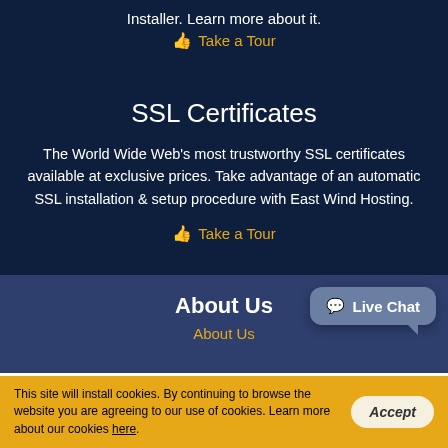Installer. Learn more about it.
👍 Take a Tour
SSL Certificates
The World Wide Web's most trustworthy SSL certificates available at exclusive prices. Take advantage of an automatic SSL installation & setup procedure with East Wind Hosting.
👍 Take a Tour
About Us
About Us
This site will install cookies. By continuing to browse the website you are agreeing to our use of cookies. Learn more about our cookies here.
Accept